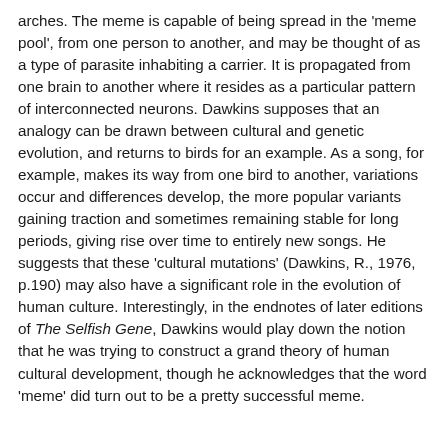arches. The meme is capable of being spread in the 'meme pool', from one person to another, and may be thought of as a type of parasite inhabiting a carrier. It is propagated from one brain to another where it resides as a particular pattern of interconnected neurons. Dawkins supposes that an analogy can be drawn between cultural and genetic evolution, and returns to birds for an example. As a song, for example, makes its way from one bird to another, variations occur and differences develop, the more popular variants gaining traction and sometimes remaining stable for long periods, giving rise over time to entirely new songs. He suggests that these 'cultural mutations' (Dawkins, R., 1976, p.190) may also have a significant role in the evolution of human culture. Interestingly, in the endnotes of later editions of The Selfish Gene, Dawkins would play down the notion that he was trying to construct a grand theory of human cultural development, though he acknowledges that the word 'meme' did turn out to be a pretty successful meme.